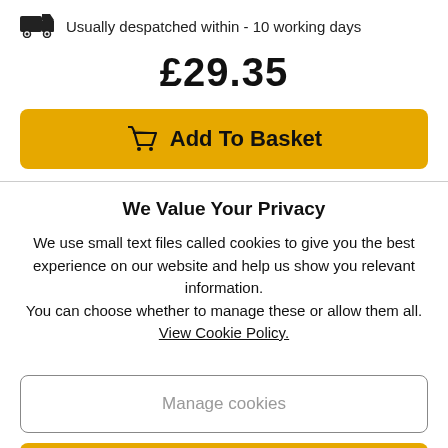Usually despatched within - 10 working days
£29.35
[Figure (other): Add To Basket button with shopping cart icon, golden/amber background]
We Value Your Privacy
We use small text files called cookies to give you the best experience on our website and help us show you relevant information.
You can choose whether to manage these or allow them all.
View Cookie Policy.
[Figure (other): Manage cookies button - white with rounded border]
[Figure (other): Allow All button with chevron circle icon, golden/amber background]